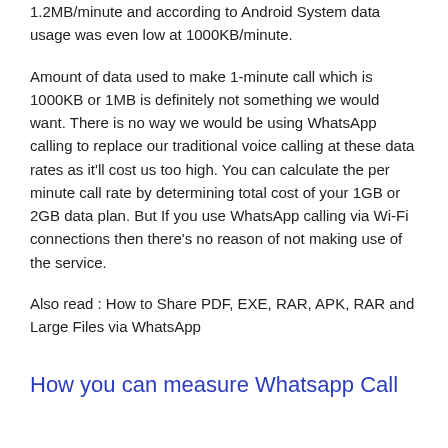1.2MB/minute and according to Android System data usage was even low at 1000KB/minute.
Amount of data used to make 1-minute call which is 1000KB or 1MB is definitely not something we would want. There is no way we would be using WhatsApp calling to replace our traditional voice calling at these data rates as it'll cost us too high. You can calculate the per minute call rate by determining total cost of your 1GB or 2GB data plan. But If you use WhatsApp calling via Wi-Fi connections then there's no reason of not making use of the service.
Also read : How to Share PDF, EXE, RAR, APK, RAR and Large Files via WhatsApp
How you can measure Whatsapp Call Data Usage?